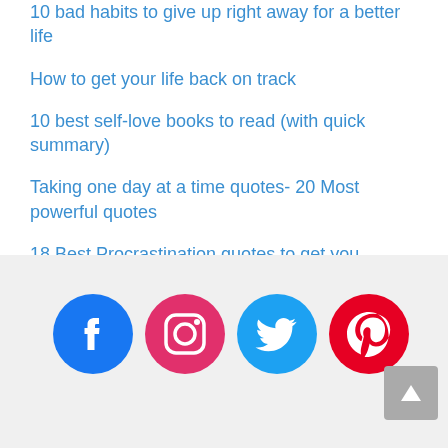10 bad habits to give up right away for a better life
How to get your life back on track
10 best self-love books to read (with quick summary)
Taking one day at a time quotes- 20 Most powerful quotes
18 Best Procrastination quotes to get you started
[Figure (infographic): Social media icons for Facebook (blue circle), Instagram (pink circle), Twitter (light blue circle), Pinterest (red circle). A gray scroll-to-top button is in the bottom right corner.]